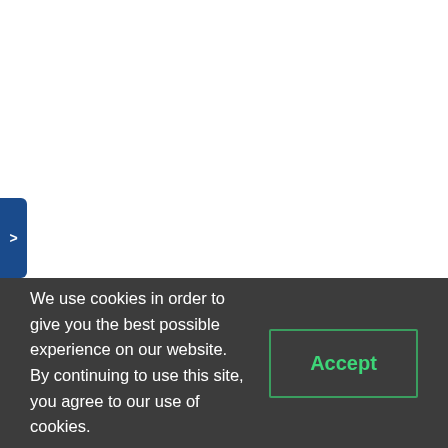[Figure (screenshot): White page content area with a blue navigation arrow button on the left side]
We use cookies in order to give you the best possible experience on our website. By continuing to use this site, you agree to our use of cookies.
Accept